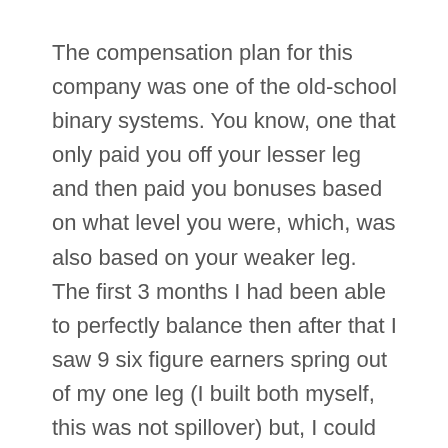The compensation plan for this company was one of the old-school binary systems. You know, one that only paid you off your lesser leg and then paid you bonuses based on what level you were, which, was also based on your weaker leg. The first 3 months I had been able to perfectly balance then after that I saw 9 six figure earners spring out of my one leg (I built both myself, this was not spillover) but, I could not get my lesser leg to grow no matter what I did so my checks went down, down, down. I worked my heart out for 2 whole years at this, never hit a new level and also noticed none of my team hit any